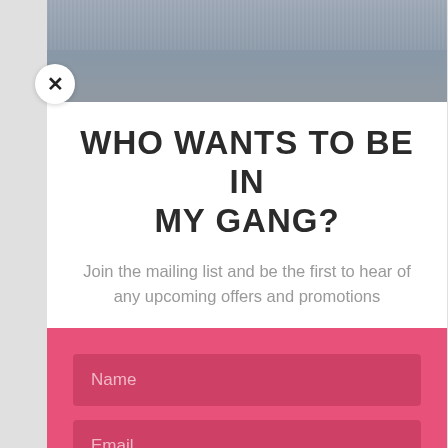[Figure (screenshot): A modal popup overlay on a website. The modal has a white upper section with a bold title 'WHO WANTS TO BE IN MY GANG?' and subtitle text, and a pink lower section with Name and Email input fields and a SUBSCRIBE! button. A circular close (X) button is in the top-left corner.]
WHO WANTS TO BE IN MY GANG?
Join the mailing list and be the first to hear of any upcoming offers and promotions